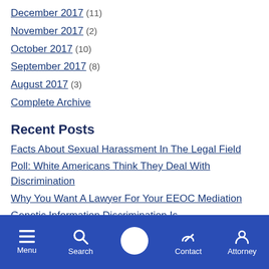December 2017 (11)
November 2017 (2)
October 2017 (10)
September 2017 (8)
August 2017 (3)
Complete Archive
Recent Posts
Facts About Sexual Harassment In The Legal Field
Poll: White Americans Think They Deal With Discrimination
Why You Want A Lawyer For Your EEOC Mediation
Genetic Information Discrimination Is
Menu | Search | (phone) | Contact | Attorney